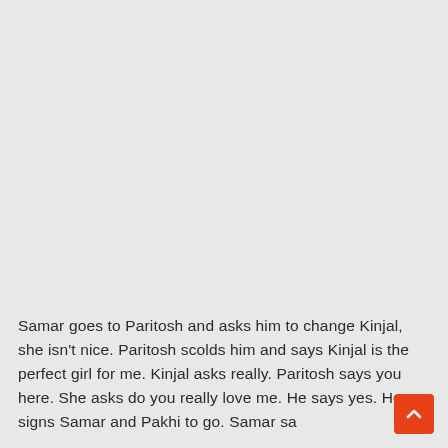Samar goes to Paritosh and asks him to change Kinjal, she isn't nice. Paritosh scolds him and says Kinjal is the perfect girl for me. Kinjal asks really. Paritosh says you here. She asks do you really love me. He says yes. He signs Samar and Pakhi to go. Samar sa... will sign... Pakhi... will sign... The...